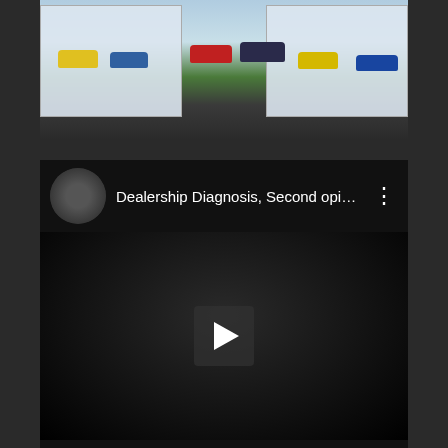[Figure (photo): Car dealership exterior rendering with multiple colorful cars (yellow, blue, red) displayed in front of a modern glass showroom building with landscaping]
[Figure (screenshot): YouTube video card showing a video titled 'Dealership Diagnosis, Second opin...' from the DiagnoseDan channel, with a thumbnail showing a mechanic working under a car hood in a dark scene with a play button overlay]